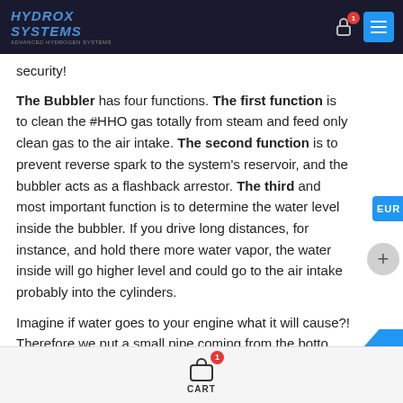HYDROX SYSTEMS
security!
The Bubbler has four functions. The first function is to clean the #HHO gas totally from steam and feed only clean gas to the air intake. The second function is to prevent reverse spark to the system's reservoir, and the bubbler acts as a flashback arrestor. The third and most important function is to determine the water level inside the bubbler. If you drive long distances, for instance, and hold there more water vapor, the water inside will go higher level and could go to the air intake probably into the cylinders.
Imagine if water goes to your engine what it will cause?! Therefore we put a small pipe coming from the bottom
CART